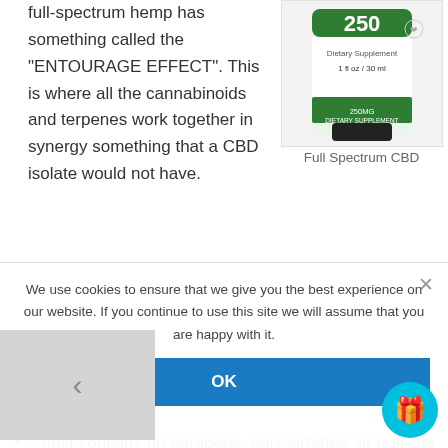full-spectrum hemp has something called the "ENTOURAGE EFFECT". This is where all the cannabinoids and terpenes work together in synergy something that a CBD isolate would not have.
[Figure (photo): Product bottle of Full Spectrum CBD 250mg, 1 fl oz / 30ml dietary supplement]
Full Spectrum CBD
...duct contains no parabens, polysorbates, or artificial emulsifiers. It is soy-free, gluten-free, naturally derived and made with organic ingredients.
We use cookies to ensure that we give you the best experience on our website. If you continue to use this site we will assume that you are happy with it.